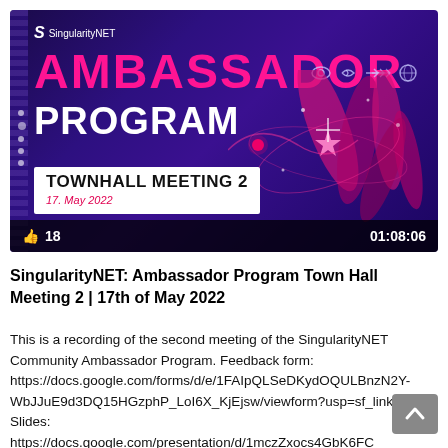[Figure (screenshot): Video thumbnail for SingularityNET Ambassador Program Town Hall Meeting 2. Dark purple/blue gradient background with pink 'AMBASSADOR' text and white 'PROGRAM' text. Decorative pink oval shapes on right. 'TOWNHALL MEETING 2' white box with date '17. May 2022'. Bottom bar shows 18 likes and duration 01:08:06.]
SingularityNET: Ambassador Program Town Hall Meeting 2 | 17th of May 2022
This is a recording of the second meeting of the SingularityNET Community Ambassador Program. Feedback form: https://docs.google.com/forms/d/e/1FAIpQLSeDKydOQULBnzN2Y-WbJJuE9d3DQ15HGzphP_LoI6X_KjEjsw/viewform?usp=sf_link Slides: https://docs.google.com/presentation/d/1mczZxocs4GbK6FC annlKYHLVsFa5CwioFQvRA_eI/edit?usp=sharing Meeting notes...